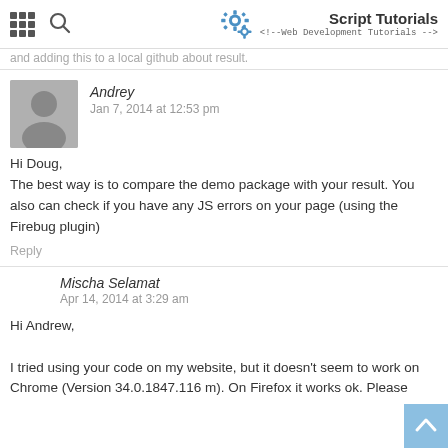Script Tutorials <!--Web Development Tutorials -->
and adding this to a local github about result.
Andrey
Jan 7, 2014 at 12:53 pm
Hi Doug,
The best way is to compare the demo package with your result. You also can check if you have any JS errors on your page (using the Firebug plugin)
Reply
Mischa Selamat
Apr 14, 2014 at 3:29 am
Hi Andrew,

I tried using your code on my website, but it doesn't seem to work on Chrome (Version 34.0.1847.116 m). On Firefox it works ok. Please